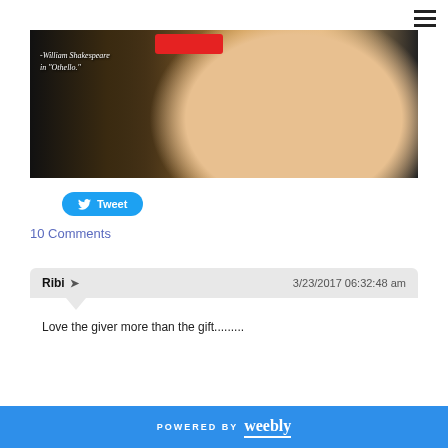[Figure (photo): Cropped photo of a smiling child with reddish-brown hair against a dark background; red shape partially visible; italic text overlay reads '-William Shakespeare in "Othello."']
Tweet
10 Comments
Ribi → 3/23/2017 06:32:48 am
Love the giver more than the gift.........
REPLY
POWERED BY weebly